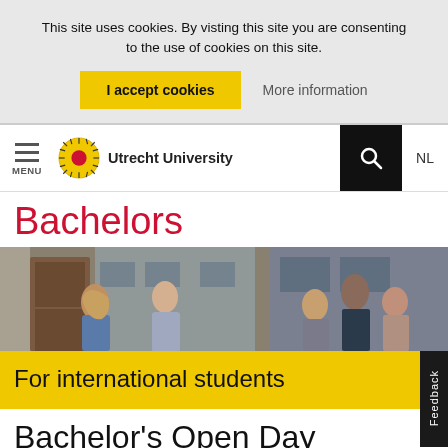This site uses cookies. By visting this site you are consenting to the use of cookies on this site.
I accept cookies
More information
Utrecht University
Bachelors
[Figure (photo): Students sitting and chatting outside a university building]
For international students
Bachelor's Open Day